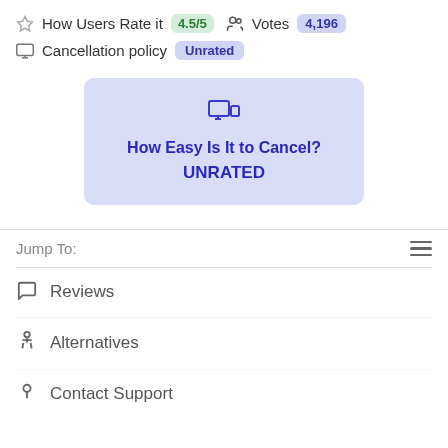How Users Rate it 4.5/5 Votes 4,196
Cancellation policy Unrated
[Figure (infographic): Purple card showing device/screen icon with text 'How Easy Is It to Cancel?' and 'UNRATED' in bold blue-purple text on lavender background]
Jump To:
Reviews
Alternatives
Contact Support